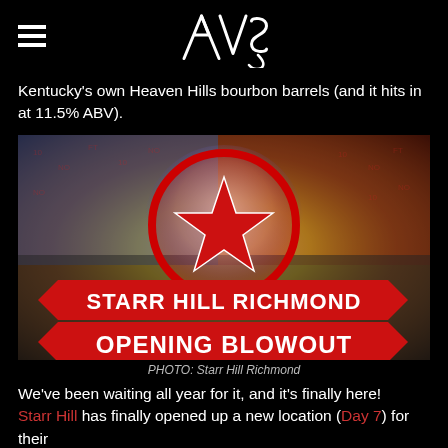AVS logo with hamburger menu
Kentucky’s own Heaven Hills bourbon barrels (and it hits in at 11.5% ABV).
[Figure (photo): Starr Hill Richmond Opening Blowout promotional image with red star circle logo on colorful patterned background]
PHOTO: Starr Hill Richmond
We’ve been waiting all year for it, and it’s finally here! Starr Hill has finally opened up a new location (Day 7) for their...